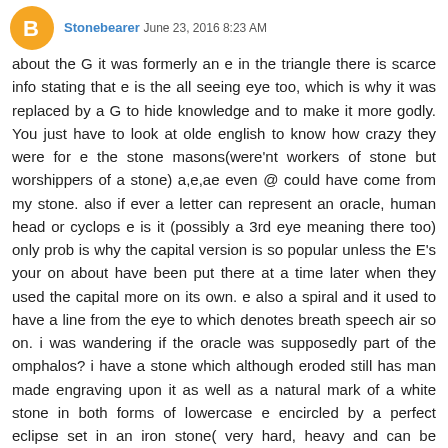Stonebearer June 23, 2016 8:23 AM
about the G it was formerly an e in the triangle there is scarce info stating that e is the all seeing eye too, which is why it was replaced by a G to hide knowledge and to make it more godly. You just have to look at olde english to know how crazy they were for e the stone masons(were'nt workers of stone but worshippers of a stone) a,e,ae even @ could have come from my stone. also if ever a letter can represent an oracle, human head or cyclops e is it (possibly a 3rd eye meaning there too) only prob is why the capital version is so popular unless the E's your on about have been put there at a time later when they used the capital more on its own. e also a spiral and it used to have a line from the eye to which denotes breath speech air so on. i was wandering if the oracle was supposedly part of the omphalos? i have a stone which although eroded still has man made engraving upon it as well as a natural mark of a white stone in both forms of lowercase e encircled by a perfect eclipse set in an iron stone( very hard, heavy and can be confused with a meteor) that i believe is the famous ben ben, omphalos, grail stone, philosopher's..., iluminated stone of the wise and the others, I'm currently collecting info for a book I'm writing oh and it seems to be quite